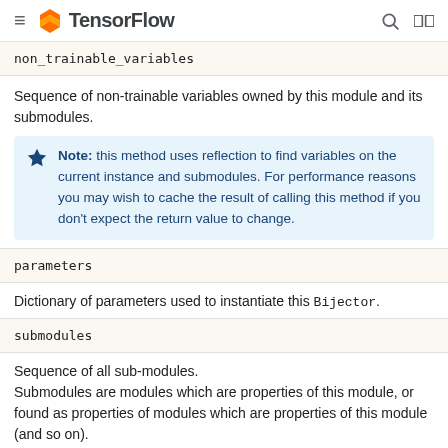TensorFlow
non_trainable_variables
Sequence of non-trainable variables owned by this module and its submodules.
Note: this method uses reflection to find variables on the current instance and submodules. For performance reasons you may wish to cache the result of calling this method if you don't expect the return value to change.
parameters
Dictionary of parameters used to instantiate this Bijector.
submodules
Sequence of all sub-modules.
Submodules are modules which are properties of this module, or found as properties of modules which are properties of this module (and so on).